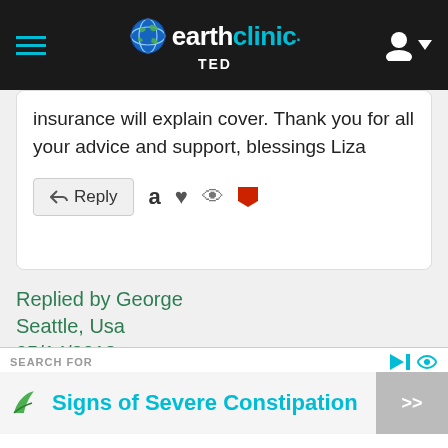earthclinic TED
insurance will explain cover. Thank you for all your advice and support, blessings Liza
Replied by George
Seattle, Usa
05/14/2018
Hi Liza;
SEARCH FOR
Signs of Severe Constipation